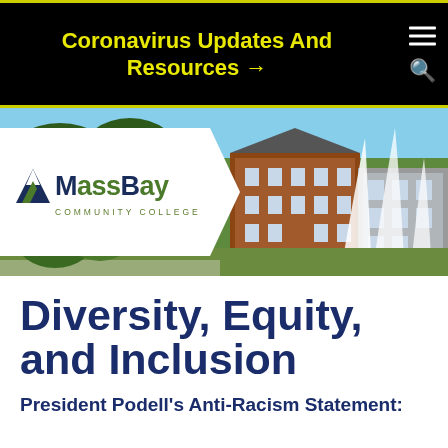Coronavirus Updates And Resources →
[Figure (photo): MassBay Community College campus photo showing brick buildings, trees, and white sculptural elements. The MassBay Community College logo (with mountain icon) is overlaid on a white chevron/arrow shape on the left side of the hero image.]
Diversity, Equity, and Inclusion
President Podell's Anti-Racism Statement: